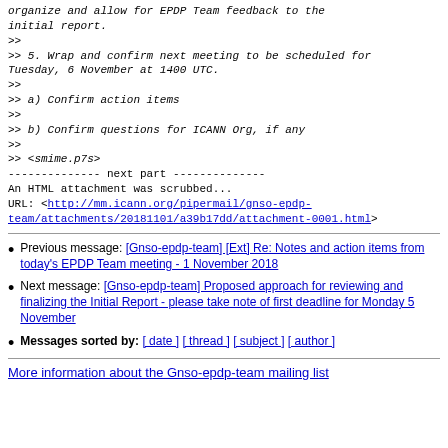organize and allow for EPDP Team feedback to the
initial report.
>>
>> 5. Wrap and confirm next meeting to be scheduled for
Tuesday, 6 November at 1400 UTC.
>>
>> a) Confirm action items
>>
>> b) Confirm questions for ICANN Org, if any
>>
>> <smime.p7s>
-------------- next part --------------
An HTML attachment was scrubbed...
URL: <http://mm.icann.org/pipermail/gnso-epdp-team/attachments/20181101/a39b17dd/attachment-0001.html>
Previous message: [Gnso-epdp-team] [Ext] Re: Notes and action items from today's EPDP Team meeting - 1 November 2018
Next message: [Gnso-epdp-team] Proposed approach for reviewing and finalizing the Initial Report - please take note of first deadline for Monday 5 November
Messages sorted by: [ date ] [ thread ] [ subject ] [ author ]
More information about the Gnso-epdp-team mailing list